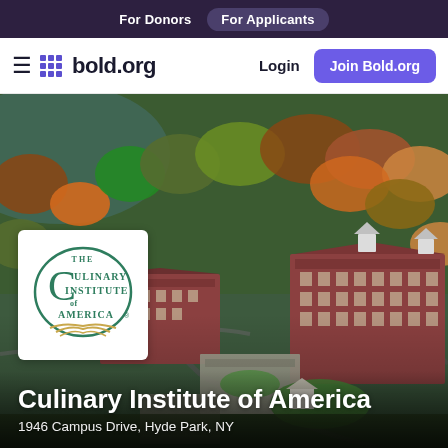For Donors  For Applicants
bold.org  Login  Join Bold.org
[Figure (photo): Aerial photograph of the Culinary Institute of America campus in Hyde Park, NY, showing red brick buildings surrounded by autumn foliage and a body of water in the background. A CIA logo overlay appears on the lower left of the photo.]
Culinary Institute of America
1946 Campus Drive, Hyde Park, NY